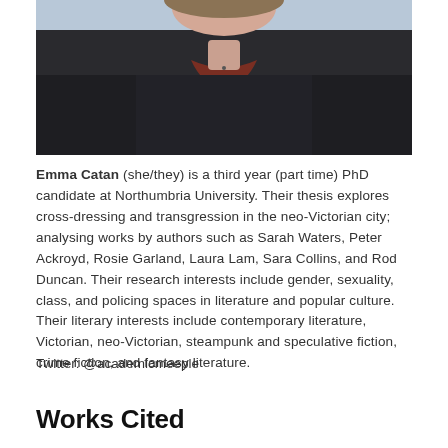[Figure (photo): Portrait photo of Emma Catan, showing upper body. Person wearing dark sweater/jumper with a reddish-brown collar visible underneath. Background appears light blue.]
Emma Catan (she/they) is a third year (part time) PhD candidate at Northumbria University. Their thesis explores cross-dressing and transgression in the neo-Victorian city; analysing works by authors such as Sarah Waters, Peter Ackroyd, Rosie Garland, Laura Lam, Sara Collins, and Rod Duncan. Their research interests include gender, sexuality, class, and policing spaces in literature and popular culture. Their literary interests include contemporary literature, Victorian, neo-Victorian, steampunk and speculative fiction, crime fiction, and fantasy literature.
Twitter: @academicmeeple
Works Cited